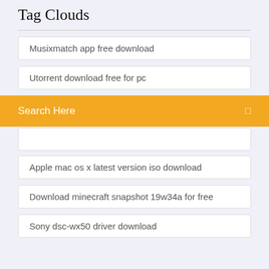Tag Clouds
Musixmatch app free download
Utorrent download free for pc
Search Here
Apple mac os x latest version iso download
Download minecraft snapshot 19w34a for free
Sony dsc-wx50 driver download